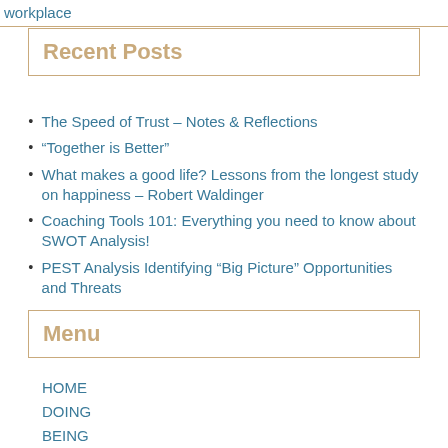workplace
Recent Posts
The Speed of Trust – Notes & Reflections
“Together is Better”
What makes a good life? Lessons from the longest study on happiness – Robert Waldinger
Coaching Tools 101: Everything you need to know about SWOT Analysis!
PEST Analysis Identifying “Big Picture” Opportunities and Threats
Menu
HOME
DOING
BEING